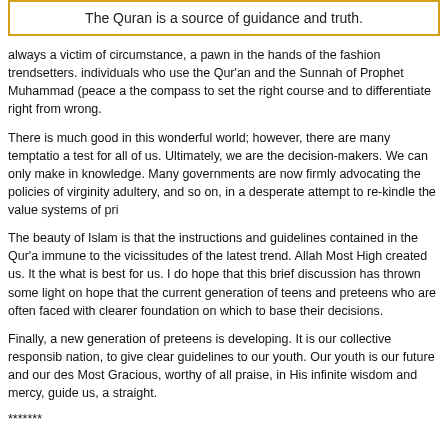The Quran is a source of guidance and truth.
always a victim of circumstance, a pawn in the hands of the fashion trendsetters. individuals who use the Qur'an and the Sunnah of Prophet Muhammad (peace a the compass to set the right course and to differentiate right from wrong.
There is much good in this wonderful world; however, there are many temptatio a test for all of us. Ultimately, we are the decision-makers. We can only make in knowledge. Many governments are now firmly advocating the policies of virginity adultery, and so on, in a desperate attempt to re-kindle the value systems of pri
The beauty of Islam is that the instructions and guidelines contained in the Qur'a immune to the vicissitudes of the latest trend. Allah Most High created us. It the what is best for us. I do hope that this brief discussion has thrown some light on hope that the current generation of teens and preteens who are often faced with clearer foundation on which to base their decisions.
Finally, a new generation of preteens is developing. It is our collective responsib nation, to give clear guidelines to our youth. Our youth is our future and our des Most Gracious, worthy of all praise, in His infinite wisdom and mercy, guide us, a straight.
*******